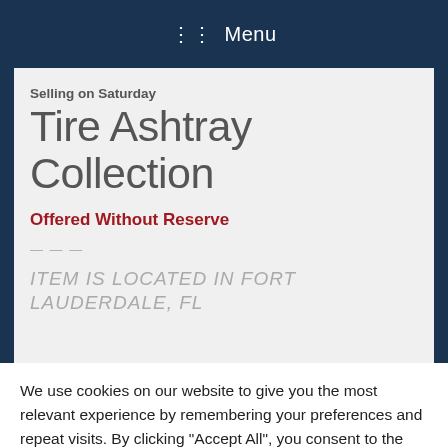Menu
Selling on Saturday
Tire Ashtray Collection
Offered Without Reserve
---
ITEM IS LOCATED IN FORT LAUDERDALE, FL
We use cookies on our website to give you the most relevant experience by remembering your preferences and repeat visits. By clicking "Accept All", you consent to the use of ALL the cookies. However, you may visit "Cookie Settings" to provide a controlled consent.
Cookie Settings
Accept All